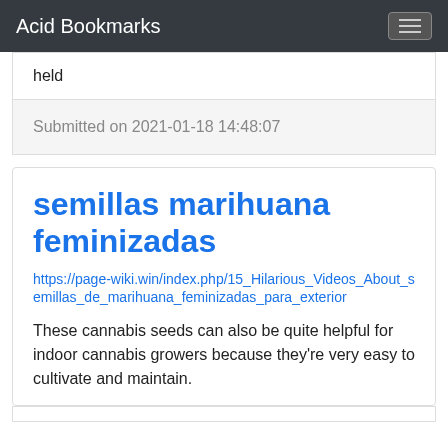Acid Bookmarks
held
Submitted on 2021-01-18 14:48:07
semillas marihuana feminizadas
https://page-wiki.win/index.php/15_Hilarious_Videos_About_semillas_de_marihuana_feminizadas_para_exterior
These cannabis seeds can also be quite helpful for indoor cannabis growers because they're very easy to cultivate and maintain.